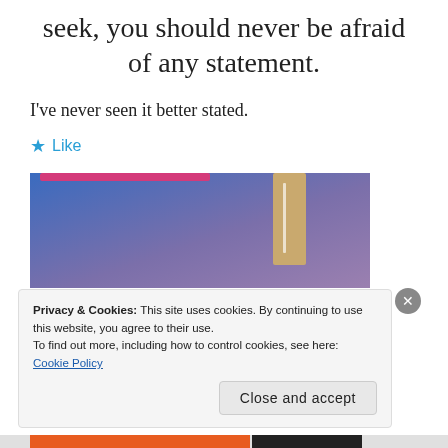seek, you should never be afraid of any statement.
I've never seen it better stated.
★ Like
[Figure (illustration): A stylized graphic with blue-to-purple gradient background, a pink bar at the top, and a tan/brown bookmark-like rectangle on the right side with a white line.]
Privacy & Cookies: This site uses cookies. By continuing to use this website, you agree to their use.
To find out more, including how to control cookies, see here: Cookie Policy